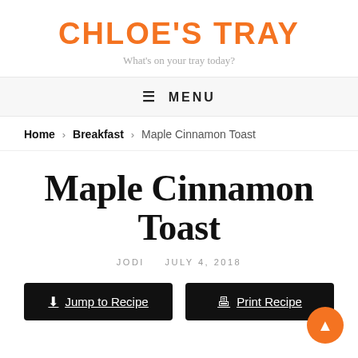CHLOE'S TRAY
What's on your tray today?
≡ MENU
Home > Breakfast > Maple Cinnamon Toast
Maple Cinnamon Toast
JODI   JULY 4, 2018
Jump to Recipe   Print Recipe